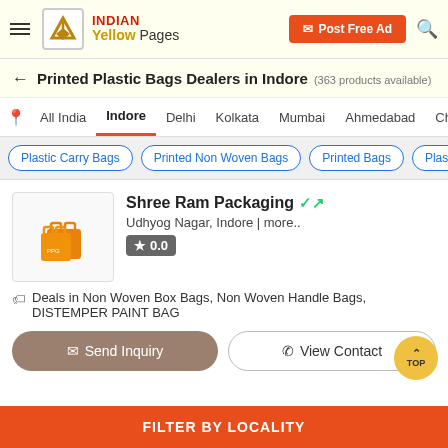INDIAN Yellow Pages — Post Free Ad
Printed Plastic Bags Dealers in Indore (363 products available)
All India
Indore (active)
Delhi
Kolkata
Mumbai
Ahmedabad
Chennai
Plastic Carry Bags
Printed Non Woven Bags
Printed Bags
Plastic C...
Shree Ram Packaging
Udhyog Nagar, Indore | more..
0.0
Deals in Non Woven Box Bags, Non Woven Handle Bags, DISTEMPER PAINT BAG
Send Inquiry
View Contact
FILTER BY LOCALITY